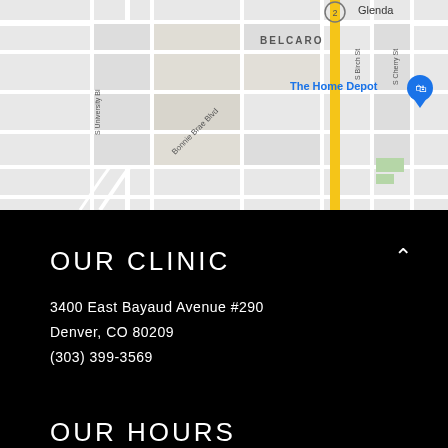[Figure (map): Google Maps screenshot showing Belcaro neighborhood in Denver, CO. Shows The Home Depot location marker, streets including Bonnie Brae Blvd, S University Blvd, S Birch St, S Cherry St, Glendale label partially visible. A circled number 2 and yellow highlighted road are visible.]
OUR CLINIC
3400 East Bayaud Avenue #290
Denver, CO 80209
(303) 399-3569
OUR HOURS